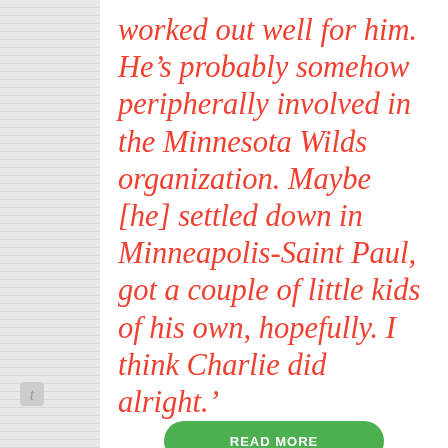worked out well for him. He’s probably somehow peripherally involved in the Minnesota Wilds organization. Maybe [he] settled down in Minneapolis-Saint Paul, got a couple of little kids of his own, hopefully. I think Charlie did alright.’
[Figure (other): Green rounded button labeled READ MORE at the bottom of the page]